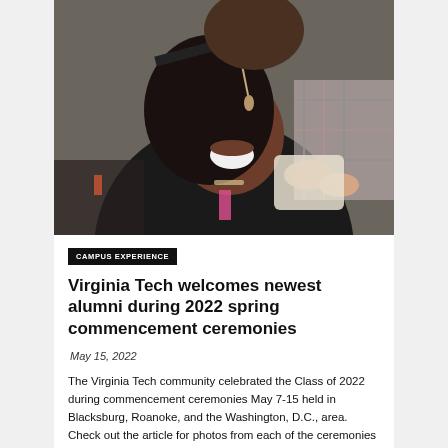[Figure (photo): A smiling female graduate in black cap and gown being embraced and kissed by someone above her, at a commencement ceremony.]
CAMPUS EXPERIENCE
Virginia Tech welcomes newest alumni during 2022 spring commencement ceremonies
May 15, 2022
The Virginia Tech community celebrated the Class of 2022 during commencement ceremonies May 7-15 held in Blacksburg, Roanoke, and the Washington, D.C., area. Check out the article for photos from each of the ceremonies and additional coverage.